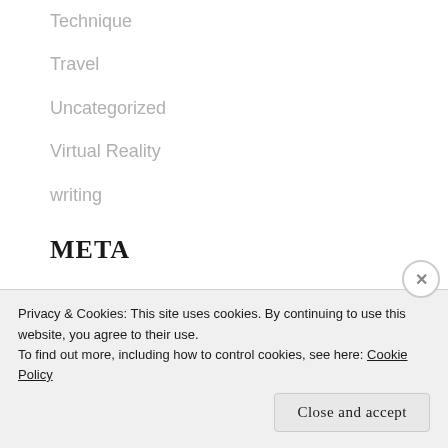Technique
Travel
Uncategorized
Virtual Reality
writing
META
Register
Privacy & Cookies: This site uses cookies. By continuing to use this website, you agree to their use.
To find out more, including how to control cookies, see here: Cookie Policy
Close and accept